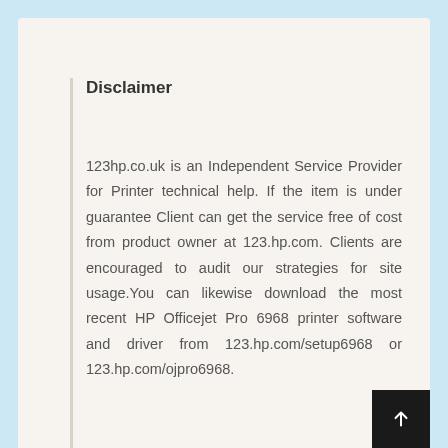Disclaimer
123hp.co.uk is an Independent Service Provider for Printer technical help. If the item is under guarantee Client can get the service free of cost from product owner at 123.hp.com. Clients are encouraged to audit our strategies for site usage.You can likewise download the most recent HP Officejet Pro 6968 printer software and driver from 123.hp.com/setup6968 or 123.hp.com/ojpro6968.